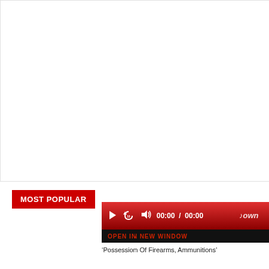[Figure (screenshot): White blank video player area]
MOST POPULAR
[Figure (screenshot): Media player controls bar showing play button, replay 10 button, volume button, time display 00:00 / 00:00, and brand logo]
OPEN IN NEW WINDOW
‘Possession Of Firearms, Ammunitions’